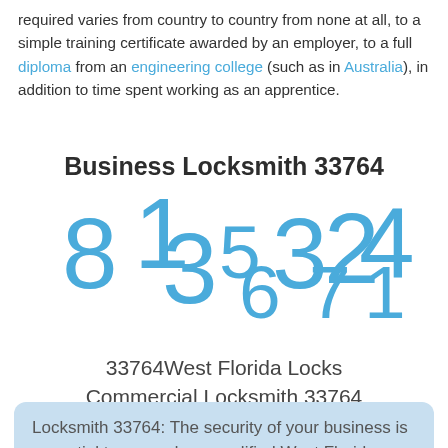required varies from country to country from none at all, to a simple training certificate awarded by an employer, to a full diploma from an engineering college (such as in Australia), in addition to time spent working as an apprentice.
Business Locksmith 33764
[Figure (other): Large blue phone number digits: 813-534-6721 displayed in overlapping stacked style]
33764West Florida Locks Commercial Locksmith 33764
Locksmith 33764: The security of your business is essential to us, and our qualified West Florida